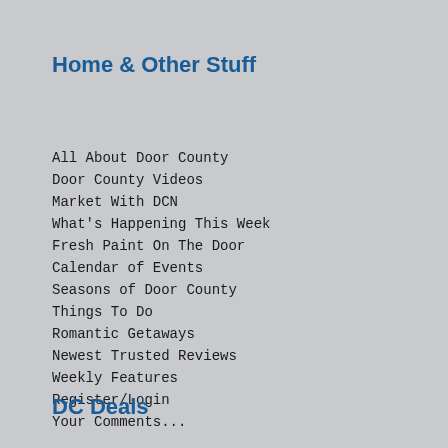Home & Other Stuff
All About Door County
Door County Videos
Market With DCN
What's Happening This Week
Fresh Paint On The Door
Calendar of Events
Seasons of Door County
Things To Do
Romantic Getaways
Newest Trusted Reviews
Weekly Features
Register/Login
Your Comments...
DC Deals